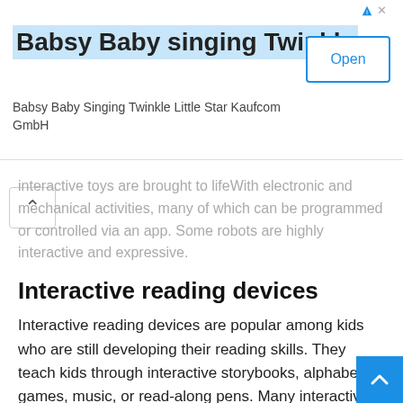[Figure (other): Advertisement banner: 'Babsy Baby singing Twinkle' with Open button, subtitle 'Babsy Baby Singing Twinkle Little Star Kaufcom GmbH']
interactive toys are brought to lifeWith electronic and mechanical activities, many of which can be programmed or controlled via an app. Some robots are highly interactive and expressive.
Interactive reading devices
Interactive reading devices are popular among kids who are still developing their reading skills. They teach kids through interactive storybooks, alphabet games, music, or read-along pens. Many interactive reading devices are expandable with interchangeable cartridges for additional stories or games.